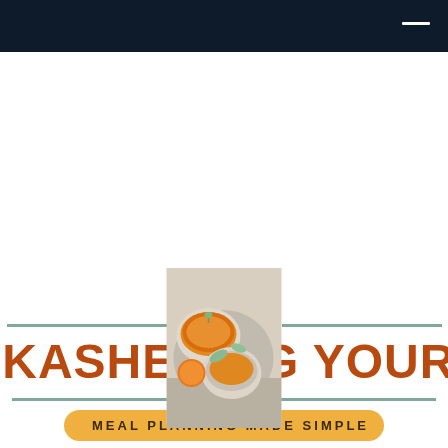[Figure (photo): Photo of bowls of orange soup/puree with orange fruits and leaves, styled food photography]
KASHERING YOUR LIFE
MEAL PLANNING MADE SIMPLE